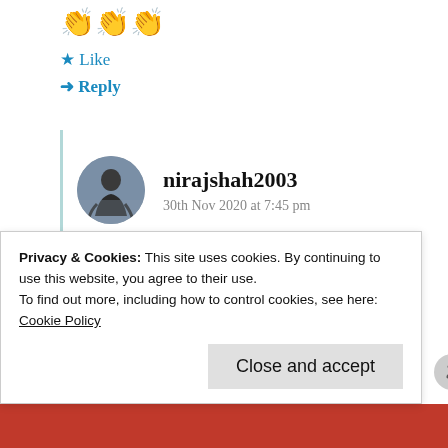👏👏👏
★ Like
➜ Reply
nirajshah2003
30th Nov 2020 at 7:45 pm
Thank you!
Privacy & Cookies: This site uses cookies. By continuing to use this website, you agree to their use.
To find out more, including how to control cookies, see here: Cookie Policy
Close and accept